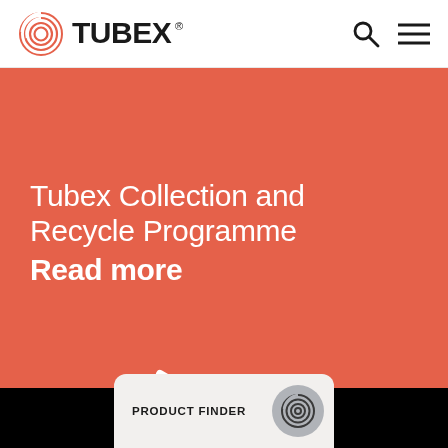[Figure (logo): Tubex logo with orange spiral shell icon and bold TUBEX® wordmark in black]
Tubex Collection and Recycle Programme Read more
[Figure (illustration): Large white right-pointing arrow on orange background]
PRODUCT FINDER
[Figure (logo): Tubex spiral icon in dark grey circle on product finder card]